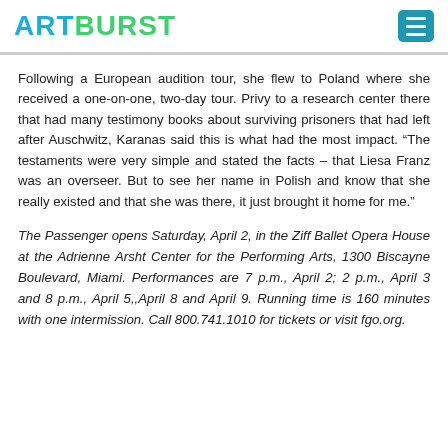ARTBURST
Following a European audition tour, she flew to Poland where she received a one-on-one, two-day tour. Privy to a research center there that had many testimony books about surviving prisoners that had left after Auschwitz, Karanas said this is what had the most impact. “The testaments were very simple and stated the facts – that Liesa Franz was an overseer. But to see her name in Polish and know that she really existed and that she was there, it just brought it home for me.”
The Passenger opens Saturday, April 2, in the Ziff Ballet Opera House at the Adrienne Arsht Center for the Performing Arts, 1300 Biscayne Boulevard, Miami. Performances are 7 p.m., April 2; 2 p.m., April 3 and 8 p.m., April 5,,April 8 and April 9. Running time is 160 minutes with one intermission. Call 800.741.1010 for tickets or visit fgo.org.